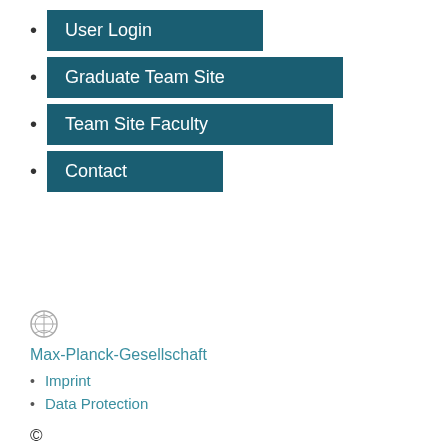User Login
Graduate Team Site
Team Site Faculty
Contact
[Figure (logo): Max-Planck-Gesellschaft circular logo icon in grey]
Max-Planck-Gesellschaft
Imprint
Data Protection
©
2022, Max-Planck-Gesellschaft